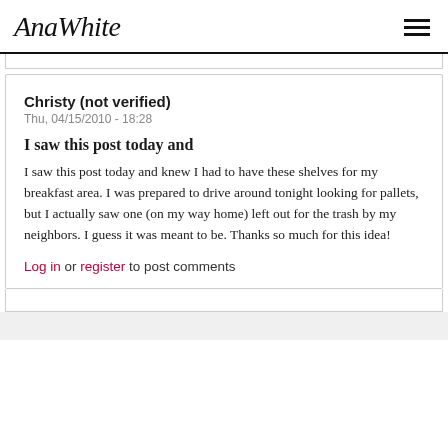AnaWhite
Christy (not verified)
Thu, 04/15/2010 - 18:28
I saw this post today and
I saw this post today and knew I had to have these shelves for my breakfast area. I was prepared to drive around tonight looking for pallets, but I actually saw one (on my way home) left out for the trash by my neighbors. I guess it was meant to be. Thanks so much for this idea!
Log in or register to post comments